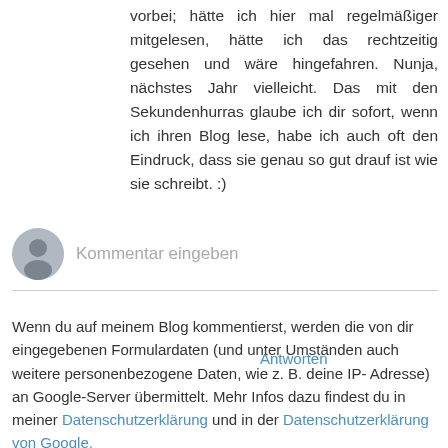vorbei; hätte ich hier mal regelmäßiger mitgelesen, hätte ich das rechtzeitig gesehen und wäre hingefahren. Nunja, nächstes Jahr vielleicht. Das mit den Sekundenhurras glaube ich dir sofort, wenn ich ihren Blog lese, habe ich auch oft den Eindruck, dass sie genau so gut drauf ist wie sie schreibt. :)
Antworten
Kommentar eingeben
Wenn du auf meinem Blog kommentierst, werden die von dir eingegebenen Formulardaten (und unter Umständen auch weitere personenbezogene Daten, wie z. B. deine IP-Adresse) an Google-Server übermittelt. Mehr Infos dazu findest du in meiner Datenschutzerklärung und in der Datenschutzerklärung von Google.